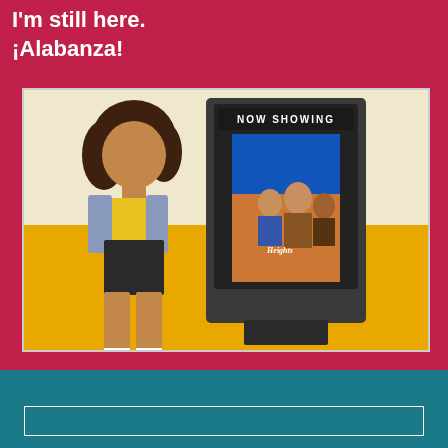I'm still here.
¡Alabanza!
[Figure (photo): A young woman standing in front of a movie theater 'Now Showing' kiosk displaying the In the Heights movie poster. She is wearing a yellow crop top, denim jacket, black shorts, white socks and yellow sneakers. The background of the photo frame has cream upper half and yellow lower half.]